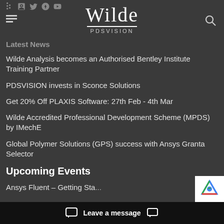Wilde PDSVISION
Latest News
Wilde Analysis becomes an Authorised Bentley Institute Training Partner
PDSVISION invests in Sconce Solutions
Get 20% Off PLAXIS Software: 27th Feb - 4th Mar
Wilde Accredited Professional Development Scheme (MPDS) by IMechE
Global Polymer Solutions (GPS) success with Ansys Granta Selector
Upcoming Events
Ansys Fluent – Getting Sta...
Leave a message